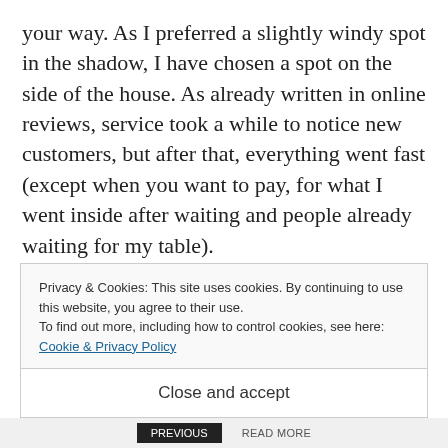your way. As I preferred a slightly windy spot in the shadow, I have chosen a spot on the side of the house. As already written in online reviews, service took a while to notice new customers, but after that, everything went fast (except when you want to pay, for what I went inside after waiting and people already waiting for my table).

As a vegetarian, I always like restaurants offering proper vegetarian meals. Some of the first meals on the menu, that caught my eye, were the bagels. All bagels are served with a salad and homemade
Privacy & Cookies: This site uses cookies. By continuing to use this website, you agree to their use.
To find out more, including how to control cookies, see here: Cookie & Privacy Policy
Close and accept